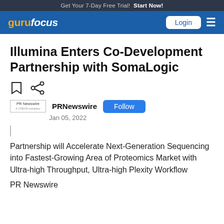Get Your 7-Day Free Trial! Start Now!
gurufocus — Login
Illumina Enters Co-Development Partnership with SomaLogic
PRNewswire — Jan 05, 2022
Partnership will Accelerate Next-Generation Sequencing into Fastest-Growing Area of Proteomics Market with Ultra-high Throughput, Ultra-high Plexity Workflow
PR Newswire